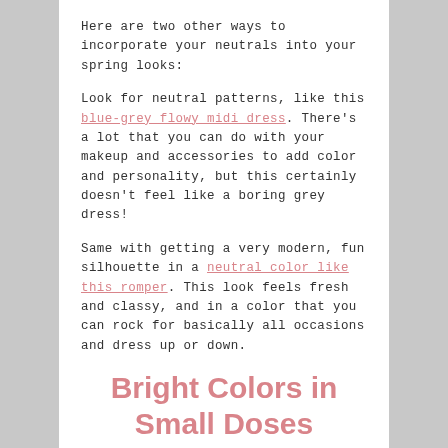Here are two other ways to incorporate your neutrals into your spring looks:
Look for neutral patterns, like this blue-grey flowy midi dress. There's a lot that you can do with your makeup and accessories to add color and personality, but this certainly doesn't feel like a boring grey dress!
Same with getting a very modern, fun silhouette in a neutral color like this romper. This look feels fresh and classy, and in a color that you can rock for basically all occasions and dress up or down.
Bright Colors in Small Doses